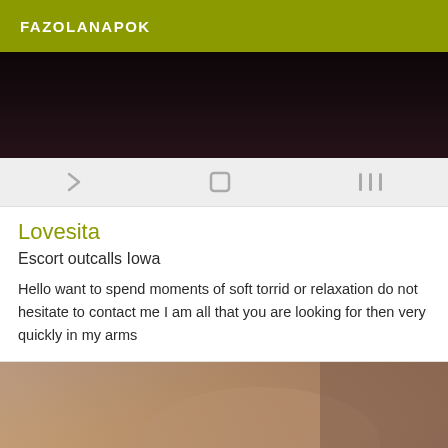FAZOLANAPOK
[Figure (photo): Dark background photo, top portion of a listing image]
[Figure (screenshot): Android navigation bar with back chevron, home circle, and recents lines icons]
Lovesita
Escort outcalls Iowa
Hello want to spend moments of soft torrid or relaxation do not hesitate to contact me I am all that you are looking for then very quickly in my arms
[Figure (photo): Photo showing a person's torso and arm with a bracelet on wrist, wearing red underwear]